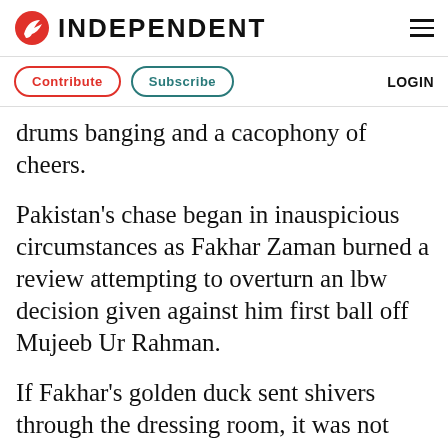INDEPENDENT
Contribute  Subscribe  LOGIN
drums banging and a cacophony of cheers.
Pakistan's chase began in inauspicious circumstances as Fakhar Zaman burned a review attempting to overturn an lbw decision given against him first ball off Mujeeb Ur Rahman.
If Fakhar's golden duck sent shivers through the dressing room, it was not immediately apparent as Imam-ul-Haq was joined by in-form Babar Azam, the pair interspersing hard